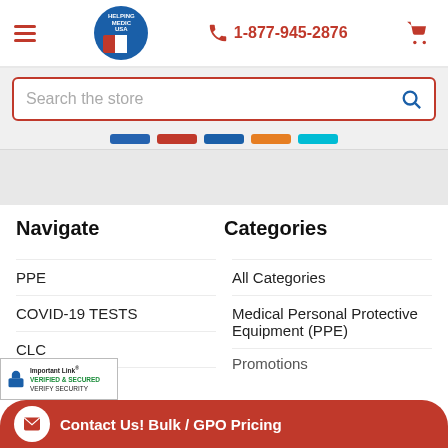Header bar with hamburger menu, logo, phone 1-877-945-2876, and cart icon
Search the store
[Figure (infographic): Social media icon row with blue, red, blue, orange, and cyan colored bars]
Navigate
Categories
PPE
COVID-19 TESTS
CLC
PROMOTIONS
All Categories
Medical Personal Protective Equipment (PPE)
Promotions
Important Link® VERIFIED & SECURED VERIFY SECURITY
Contact Us! Bulk / GPO Pricing